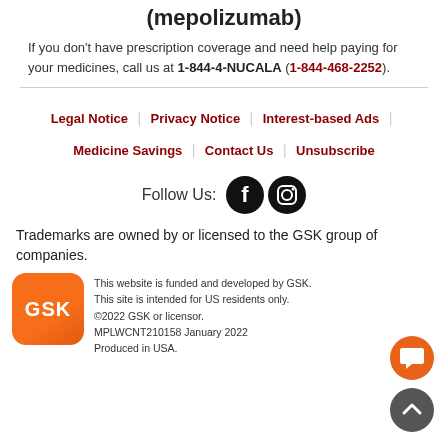(mepolizumab)
If you don't have prescription coverage and need help paying for your medicines, call us at 1-844-4-NUCALA (1-844-468-2252).
Legal Notice | Privacy Notice | Interest-based Ads | Medicine Savings | Contact Us | Unsubscribe
Follow Us:
Trademarks are owned by or licensed to the GSK group of companies.
This website is funded and developed by GSK. This site is intended for US residents only. ©2022 GSK or licensor. MPLWCNT210158 January 2022 Produced in USA.